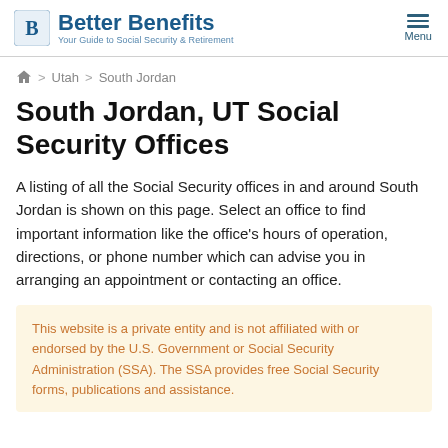Better Benefits — Your Guide to Social Security & Retirement
Home > Utah > South Jordan
South Jordan, UT Social Security Offices
A listing of all the Social Security offices in and around South Jordan is shown on this page. Select an office to find important information like the office's hours of operation, directions, or phone number which can advise you in arranging an appointment or contacting an office.
This website is a private entity and is not affiliated with or endorsed by the U.S. Government or Social Security Administration (SSA). The SSA provides free Social Security forms, publications and assistance.